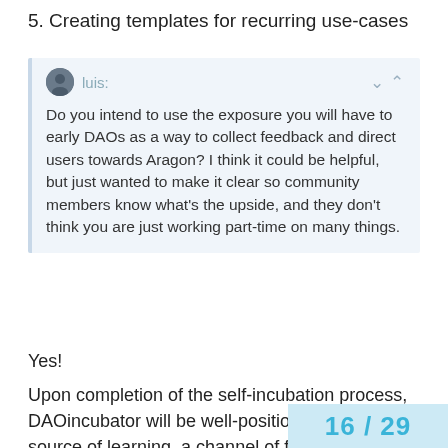5. Creating templates for recurring use-cases
luis:
Do you intend to use the exposure you will have to early DAOs as a way to collect feedback and direct users towards Aragon? I think it could be helpful, but just wanted to make it clear so community members know what's the upside, and they don't think you are just working part-time on many things.
Yes!
Upon completion of the self-incubation process, DAOincubator will be well-positioned to be a source of learning, a channel of feedback and user research and a powerful use case development channel for Aragon.
We are already reviewing and advis projects which will appear in Aragon
16 / 29